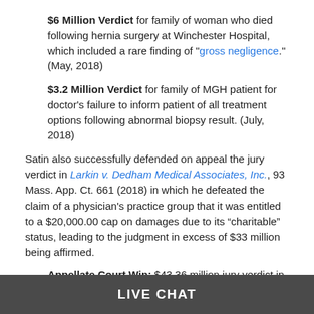$6 Million Verdict for family of woman who died following hernia surgery at Winchester Hospital, which included a rare finding of "gross negligence." (May, 2018)
$3.2 Million Verdict for family of MGH patient for doctor's failure to inform patient of all treatment options following abnormal biopsy result. (July, 2018)
Satin also successfully defended on appeal the jury verdict in Larkin v. Dedham Medical Associates, Inc., 93 Mass. App. Ct. 661 (2018) in which he defeated the claim of a physician’s practice group that it was entitled to a $20,000.00 cap on damages due to its “charitable” status, leading to the judgment in excess of $33 million being affirmed.
Appellate Court Win: $43.36 million jury verdict in stroke case affirmed on appeal, triggering payment under "high-low" agreement (July 31, 2018)
Satin has been a partner with Lubin & Meyer since 2004. He is admitted to practice law in Massachusetts and Rhode Island.
LIVE CHAT